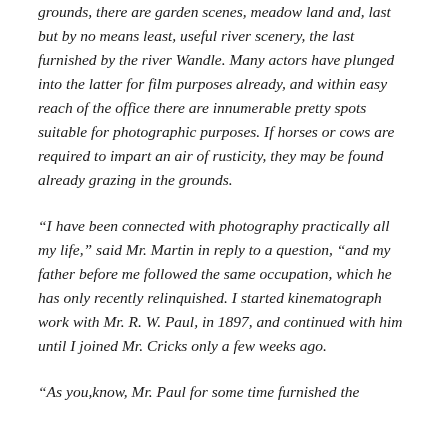grounds, there are garden scenes, meadow land and, last but by no means least, useful river scenery, the last furnished by the river Wandle. Many actors have plunged into the latter for film purposes already, and within easy reach of the office there are innumerable pretty spots suitable for photographic purposes. If horses or cows are required to impart an air of rusticity, they may be found already grazing in the grounds.
“I have been connected with photography practically all my life,” said Mr. Martin in reply to a question, “and my father before me followed the same occupation, which he has only recently relinquished. I started kinematograph work with Mr. R. W. Paul, in 1897, and continued with him until I joined Mr. Cricks only a few weeks ago.
“As you,know, Mr. Paul for some time furnished the